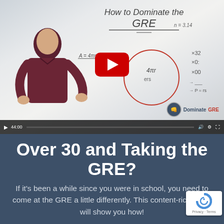[Figure (screenshot): YouTube-style video thumbnail showing a man in a dark red shirt standing in front of a whiteboard that reads 'How to Dominate the GRE' with math notes and diagrams. A red play button is centered on the video. A video progress bar and controls appear at the bottom. A 'Dominate GRE' logo appears bottom-right.]
Over 30 and Taking the GRE?
If it's been a while since you were in school, you need to come at the GRE a little differently. This content-rich video will show you how!